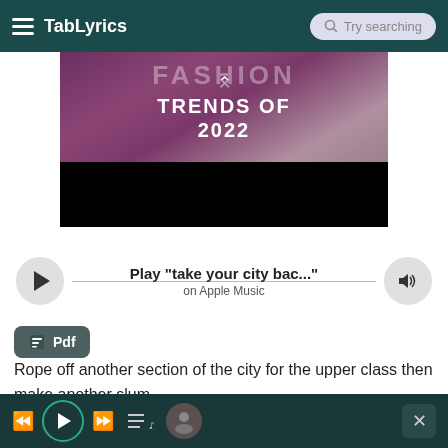TabLyrics — Try searching
[Figure (screenshot): Video thumbnail showing fashion trends text overlay with purple/pink background and black bar, text reads TRENDS OF 2022]
[Figure (other): Music player bar with play button, Play 'take your city bac...' on Apple Music, volume button]
Pdf
Rope off another section of the city for the upper class then make another slum -
a place to throw your human trash.
Separate the blacks and whites, the rich from the poor.
Bottom player bar with rewind, play, fast-forward, playlist, thumbnail, and close controls